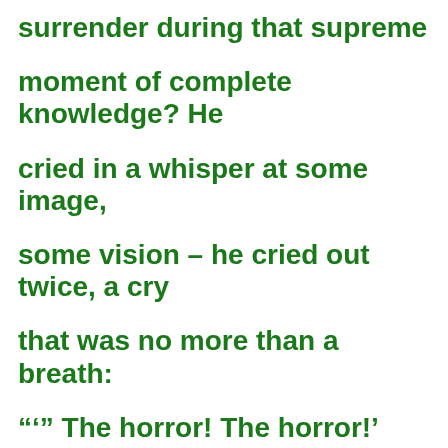surrender during that supreme moment of complete knowledge? He cried in a whisper at some image, some vision – he cried out twice, a cry that was no more than a breath: "'" The horror! The horror!' "I blew the candle out and left the